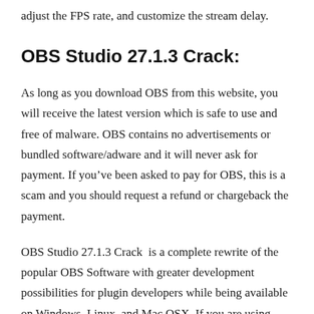adjust the FPS rate, and customize the stream delay.
OBS Studio 27.1.3 Crack:
As long as you download OBS from this website, you will receive the latest version which is safe to use and free of malware. OBS contains no advertisements or bundled software/adware and it will never ask for payment. If you’ve been asked to pay for OBS, this is a scam and you should request a refund or chargeback the payment.
OBS Studio 27.1.3 Crack  is a complete rewrite of the popular OBS Software with greater development possibilities for plugin developers while being available on Windows, Linux, and Mac OSX. If you are using Windows, you can use both the classic version of OBS and